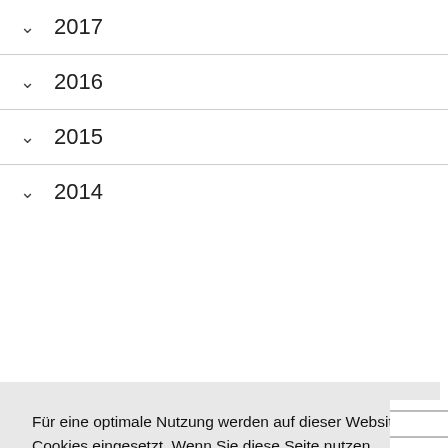∨ 2017
∨ 2016
∨ 2015
∨ 2014
Für eine optimale Nutzung werden auf dieser Website Cookies eingesetzt. Wenn Sie diese Seite nutzen, erklären Sie sich mit der Verwendung von Cookies einverstanden. Lesen Sie die Datenschutzerklärung
Cookies ablehnen | Cookies akzeptieren
∨ 2006